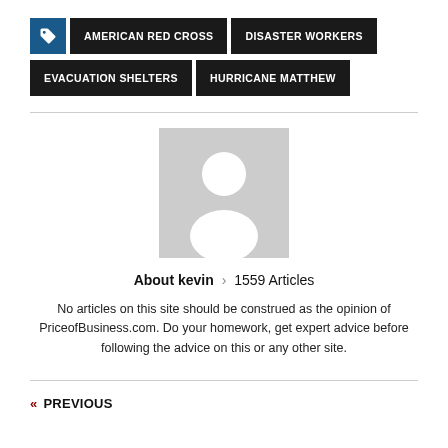AMERICAN RED CROSS
DISASTER WORKERS
EVACUATION SHELTERS
HURRICANE MATTHEW
[Figure (illustration): Generic user avatar placeholder — grey square with white silhouette of a person]
About kevin > 1559 Articles
No articles on this site should be construed as the opinion of PriceofBusiness.com. Do your homework, get expert advice before following the advice on this or any other site.
« PREVIOUS